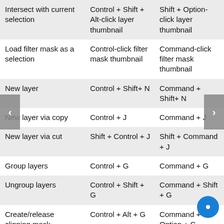|  | Windows | Mac |
| --- | --- | --- |
| Intersect with current selection | Control + Shift + Alt-click layer thumbnail | Shift + Option-click layer thumbnail |
| Load filter mask as a selection | Control-click filter mask thumbnail | Command-click filter mask thumbnail |
| New layer | Control + Shift+ N | Command + Shift+ N |
| New layer via copy | Control + J | Command + J |
| New layer via cut | Shift + Control + J | Shift + Command + J |
| Group layers | Control + G | Command + G |
| Ungroup layers | Control + Shift + G | Command + Shift + G |
| Create/release clipping mask | Control + Alt + G | Command + Option + G |
| Select all layers | Control + Alt + A | Command + Option + A |
| (continues) | Control + Shift | Command + |